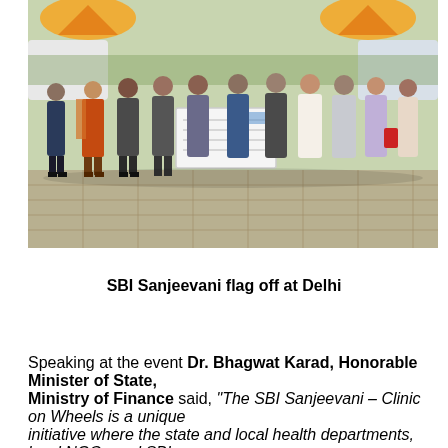[Figure (photo): Group photo of people standing outdoors at an event. Several individuals are holding a large ceremonial cheque. One woman is wearing an orange saree. The gathering appears to be at a formal function with decorative tents/canopies visible in the background.]
SBI Sanjeevani flag off at Delhi
Speaking at the event Dr. Bhagwat Karad, Honorable Minister of State, Ministry of Finance said, "The SBI Sanjeevani – Clinic on Wheels is a unique initiative where the state and local health departments, local NGOs and SBI